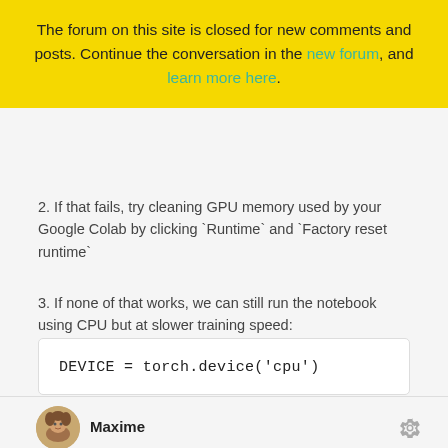The forum on this site is closed for new comments and posts. Continue the conversation in the new forum, and learn more here.
2. If that fails, try cleaning GPU memory used by your Google Colab by clicking `Runtime` and `Factory reset runtime`
3. If none of that works, we can still run the notebook using CPU but at slower training speed:
Maxime